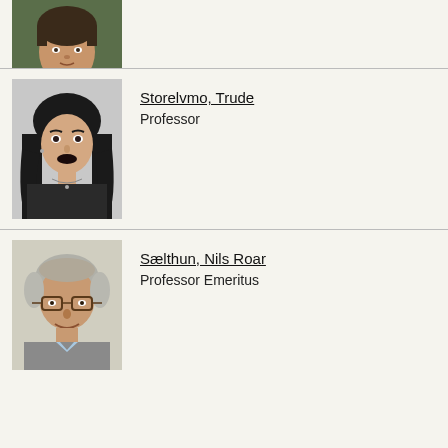[Figure (photo): Partial photo of a young man with dark hair, wearing a dark jacket with a light blue collar, cropped at the top]
[Figure (photo): Black and white photo of a woman with dark hair and dark lipstick, wearing a black top and necklace]
Storelvmo, Trude
Professor
[Figure (photo): Color photo of an older man with gray hair and glasses, smiling, wearing a gray jacket]
Sælthun, Nils Roar
Professor Emeritus